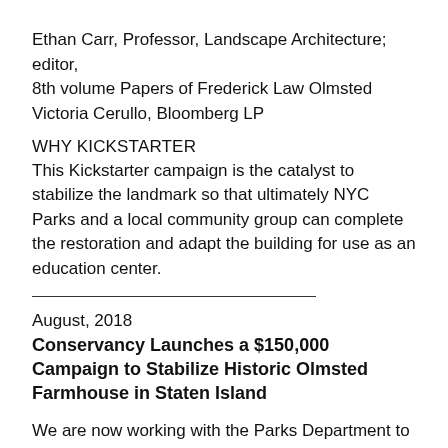Ethan Carr, Professor, Landscape Architecture; editor, 8th volume Papers of Frederick Law Olmsted
Victoria Cerullo, Bloomberg LP
WHY KICKSTARTER
This Kickstarter campaign is the catalyst to stabilize the landmark so that ultimately NYC Parks and a local community group can complete the restoration and adapt the building for use as an education center.
August, 2018
Conservancy Launches a $150,000 Campaign to Stabilize Historic Olmsted Farmhouse in Staten Island
We are now working with the Parks Department to save this nationally important site. And are endeavoring to raise $150,000 for immediate priority repairs. The Olmsted Farmhouse dates in part to the late 1600's and is an early city landmark. Park officials have asked the